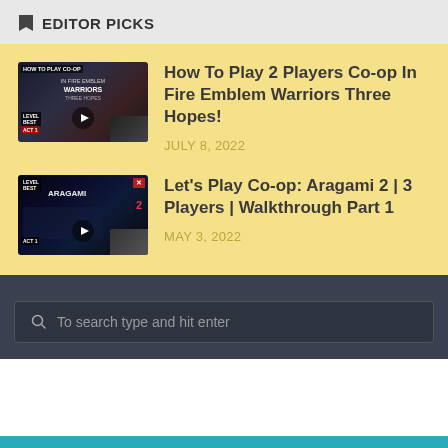EDITOR PICKS
[Figure (screenshot): Video thumbnail for Fire Emblem Warriors Three Hopes co-op video]
How To Play 2 Players Co-op In Fire Emblem Warriors Three Hopes!
JULY 8, 2022
[Figure (screenshot): Video thumbnail for Aragami 2 co-op walkthrough]
Let's Play Co-op: Aragami 2 | 3 Players | Walkthrough Part 1
MAY 3, 2022
To search type and hit enter